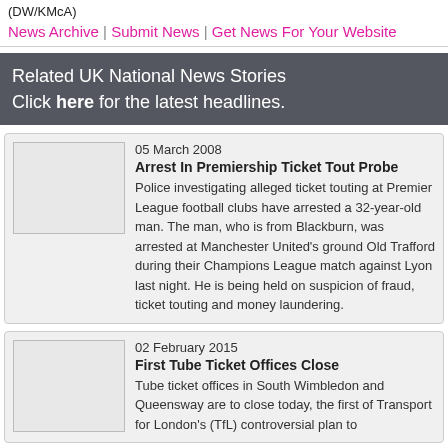(DW/KMcA)
News Archive | Submit News | Get News For Your Website
Related UK National News Stories
Click here for the latest headlines.
05 March 2008
Arrest In Premiership Ticket Tout Probe
Police investigating alleged ticket touting at Premier League football clubs have arrested a 32-year-old man. The man, who is from Blackburn, was arrested at Manchester United's ground Old Trafford during their Champions League match against Lyon last night. He is being held on suspicion of fraud, ticket touting and money laundering.
02 February 2015
First Tube Ticket Offices Close
Tube ticket offices in South Wimbledon and Queensway are to close today, the first of Transport for London's (TfL) controversial plan to